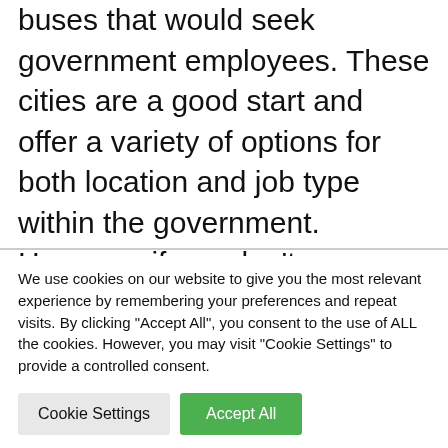buses that would seek government employees. These cities are a good start and offer a variety of options for both location and job type within the government. However, if you don't see exactly what you are looking for, there are many more possibilities, so you can always continue your research.
We use cookies on our website to give you the most relevant experience by remembering your preferences and repeat visits. By clicking "Accept All", you consent to the use of ALL the cookies. However, you may visit "Cookie Settings" to provide a controlled consent.